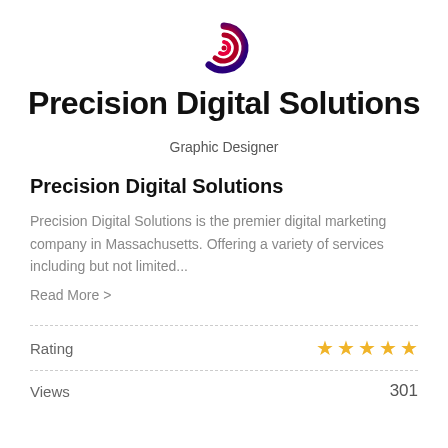[Figure (logo): Precision Digital Solutions spiral logo in red and dark purple/blue gradient]
Precision Digital Solutions
Graphic Designer
Precision Digital Solutions
Precision Digital Solutions is the premier digital marketing company in Massachusetts. Offering a variety of services including but not limited...
Read More >
Rating
☆☆☆☆☆
Views 301